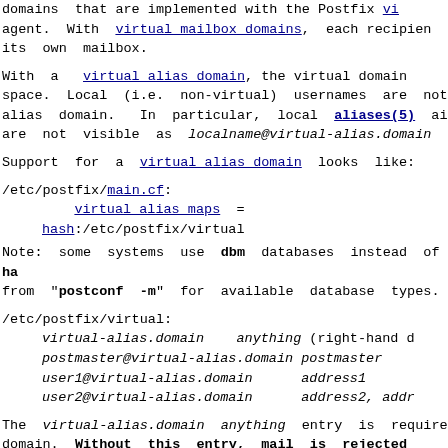domains that are implemented with the Postfix virtual agent. With virtual mailbox domains, each recipient has its own mailbox.
With a virtual alias domain, the virtual domain shares the space. Local (i.e. non-virtual) usernames are not visible in the alias domain. In particular, local aliases(5) and local are not visible as localname@virtual-alias.domain.
Support for a virtual alias domain looks like:
/etc/postfix/main.cf:
    virtual alias maps = hash:/etc/postfix/virtual
Note: some systems use dbm databases instead of hash. See the output from "postconf -m" for available database types.
/etc/postfix/virtual:
    virtual-alias.domain    anything (right-hand d
    postmaster@virtual-alias.domain postmaster
    user1@virtual-alias.domain      address1
    user2@virtual-alias.domain      address2, addr
The virtual-alias.domain anything entry is required to store the domain. Without this entry, mail is rejected with "User unknown denied", or bounces with "mail loops back to myself".
Do not specify virtual alias domain names in the or relay domains configuration parameters.
With a virtual alias domain, the Postfix SMTP